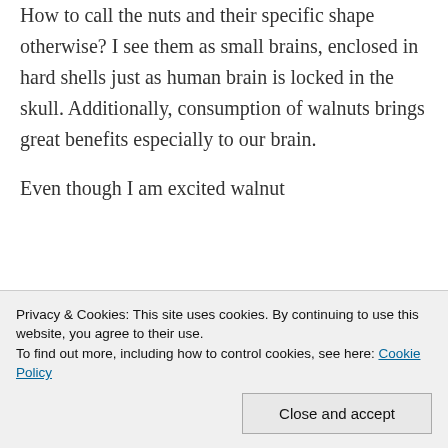How to call the nuts and their specific shape otherwise? I see them as small brains, enclosed in hard shells just as human brain is locked in the skull. Additionally, consumption of walnuts brings great benefits especially to our brain.
Even though I am excited walnut
Privacy & Cookies: This site uses cookies. By continuing to use this website, you agree to their use.
To find out more, including how to control cookies, see here: Cookie Policy
Close and accept